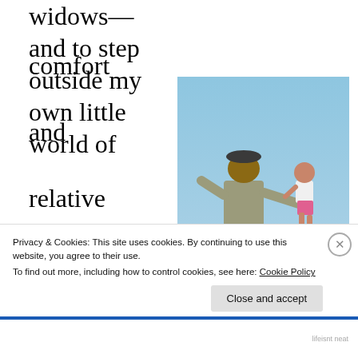widows—and to step outside my own little world of comfort and relative wealth to care for the physical needs
[Figure (photo): A man standing on top of a wire fence passes a small child to someone below; the fence appears to be a border barrier with razor wire; blue sky in background]
of those God has placed around me and
Privacy & Cookies: This site uses cookies. By continuing to use this website, you agree to their use. To find out more, including how to control cookies, see here: Cookie Policy
Close and accept